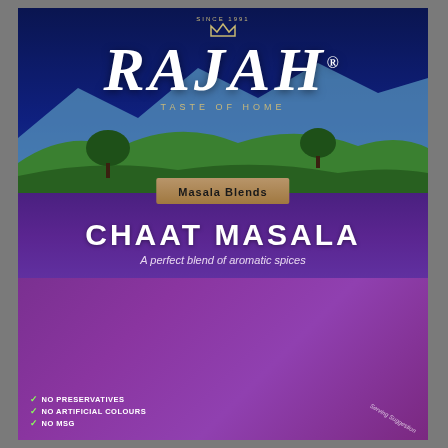[Figure (photo): Rajah Chaat Masala spice blend product packaging. Dark blue top with RAJAH logo, scenic landscape, Masala Blends badge, purple band with CHAAT MASALA product name, lower section showing bowl of chaat with chickpeas and vegetables, lime wedges, and text badges.]
RAJAH®
TASTE OF HOME
Masala Blends
CHAAT MASALA
A perfect blend of aromatic spices
NO ARTIFICIAL FLAVOURS
✓ NO PRESERVATIVES
✓ NO ARTIFICIAL COLOURS
✓ NO MSG
Serving Suggestion